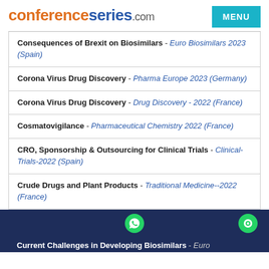conferenceseries.com
Consequences of Brexit on Biosimilars - Euro Biosimilars 2023 (Spain)
Corona Virus Drug Discovery - Pharma Europe 2023 (Germany)
Corona Virus Drug Discovery - Drug Discovery - 2022 (France)
Cosmatovigilance - Pharmaceutical Chemistry 2022 (France)
CRO, Sponsorship & Outsourcing for Clinical Trials - Clinical-Trials-2022 (Spain)
Crude Drugs and Plant Products - Traditional Medicine--2022 (France)
Current Challenges in Developing Biosimilars - Euro